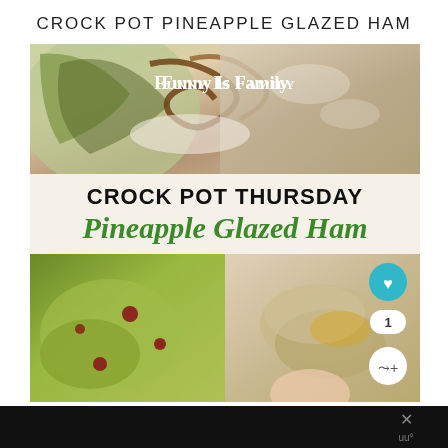CROCK POT PINEAPPLE GLAZED HAM
[Figure (photo): Top food photo with decorative plate and ham, overlaid with 'Funny Is Family' watermark text]
[Figure (infographic): White banner reading 'CROCK POT THURSDAY' in bold black and 'Pineapple Glazed Ham' in green italic script]
[Figure (photo): Bottom split photo: left side shows green salad with cranberries, right side shows pineapple glazed ham with UI overlay buttons (heart, count=1, share)]